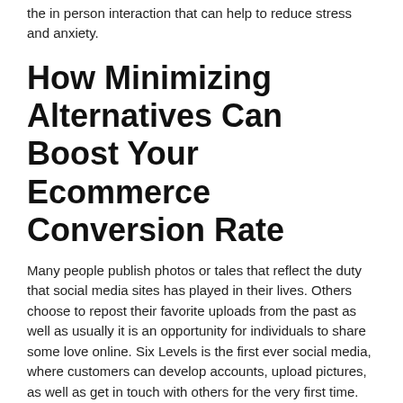the in person interaction that can help to reduce stress and anxiety.
How Minimizing Alternatives Can Boost Your Ecommerce Conversion Rate
Many people publish photos or tales that reflect the duty that social media sites has played in their lives. Others choose to repost their favorite uploads from the past as well as usually it is an opportunity for individuals to share some love online. Six Levels is the first ever social media, where customers can develop accounts, upload pictures, as well as get in touch with others for the very first time. They can assist you and your child create secure and appropriate policies relating to social media usage.
Exactly how social media affects our day-to-day life?
From blog sites to Instagram, Snaps to Facebook Live broadcasts, our internal group develops content that drives